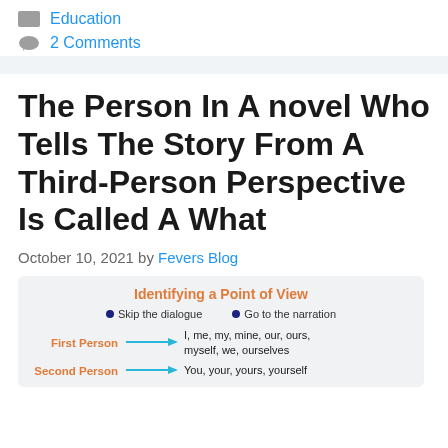Education
2 Comments
The Person In A novel Who Tells The Story From A Third-Person Perspective Is Called A What
October 10, 2021 by Fevers Blog
[Figure (infographic): Identifying a Point of View infographic showing: Skip the dialogue / Go to the narration bullets; First Person arrow pointing to 'I, me, my, mine, our, ours, myself, we, ourselves'; Second Person arrow pointing to 'You, your, yours, yourself']